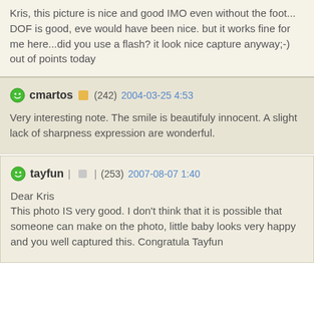Kris, this picture is nice and good IMO even without the foot... DOF is good, eve would have been nice. but it works fine for me here...did you use a flash? it look nice capture anyway;-) out of points today
cmartos (242) 2004-03-25 4:53
Very interesting note. The smile is beautifuly innocent. A slight lack of sharpness expression are wonderful.
tayfun | (253) 2007-08-07 1:40
Dear Kris
This photo IS very good. I don't think that it is possible that someone can make on the photo, little baby looks very happy and you well captured this. Congratula Tayfun